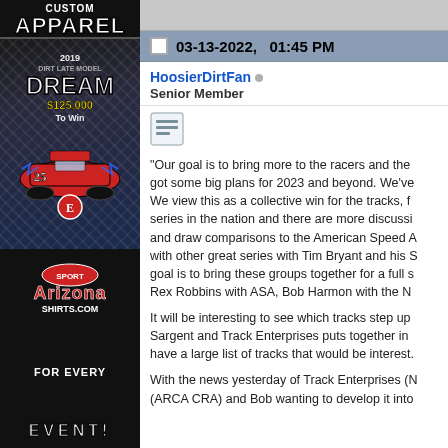[Figure (advertisement): Left sidebar advertisement for Arizona Sport Shirts custom apparel. Top section shows 'CUSTOM APPAREL' text in bold white on dark background. Middle section shows a dirt late model race car (Dream car) graphic with '2019 Dirt Late Model Dream' and '$125,000 To Win' text over diamond plate metallic background in red, white, blue colors. Bottom section shows Arizona Sport Shirts.com logo and 'FOR EVERY EVENT!' text in white bold letters on dark background.]
03-13-2022, 01:45 PM
HoosierDirtFan
Senior Member
“Our goal is to bring more to the racers and the tracks. We’ve got some big plans for 2023 and beyond. We’ve… We view this as a collective win for the tracks, fans and series in the nation and there are more discussions… and draw comparisons to the American Speed A… with other great series with Tim Bryant and his S… goal is to bring these groups together for a full s… Rex Robbins with ASA, Bob Harmon with the N…
It will be interesting to see which tracks step up… Sargent and Track Enterprises puts together in… have a large list of tracks that would be interest…
With the news yesterday of Track Enterprises (M… (ARCA CRA) and Bob wanting to develop it into…